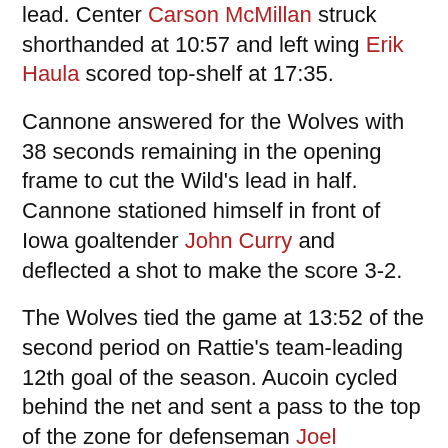lead. Center Carson McMillan struck shorthanded at 10:57 and left wing Erik Haula scored top-shelf at 17:35.
Cannone answered for the Wolves with 38 seconds remaining in the opening frame to cut the Wild's lead in half. Cannone stationed himself in front of Iowa goaltender John Curry and deflected a shot to make the score 3-2.
The Wolves tied the game at 13:52 of the second period on Rattie's team-leading 12th goal of the season. Aucoin cycled behind the net and sent a pass to the top of the zone for defenseman Joel Edmundson. He fed the puck down low to Rattie, who buried it. Aucoin's assist gave him sole possession of seventh place with 830 career points in 731 games.